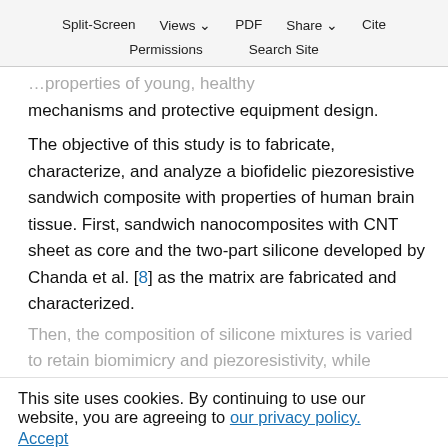Split-Screen   Views   PDF   Share   Cite
Permissions   Search Site
mechanisms and protective equipment design.
The objective of this study is to fabricate, characterize, and analyze a biofidelic piezoresistive sandwich composite with properties of human brain tissue. First, sandwich nanocomposites with CNT sheet as core and the two-part silicone developed by Chanda et al. [8] as the matrix are fabricated and characterized.
Then, the composition of silicone mixtures is varied to retain biomimicry and piezoresistivity, while accounting for stiffness increase due to the addition of CNT sheet core. The sandwich
This site uses cookies. By continuing to use our website, you are agreeing to our privacy policy. Accept